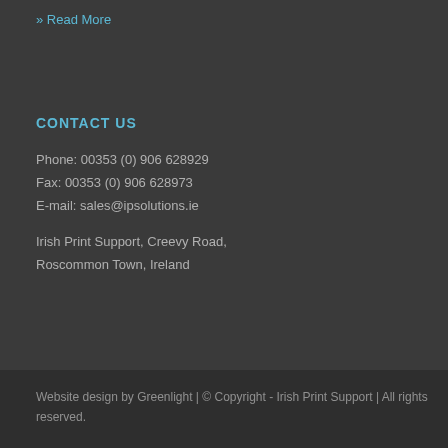» Read More
CONTACT US
Phone: 00353 (0) 906 628929
Fax: 00353 (0) 906 628973
E-mail: sales@ipsolutions.ie
Irish Print Support, Creevy Road, Roscommon Town, Ireland
Website design by Greenlight | © Copyright - Irish Print Support | All rights reserved.